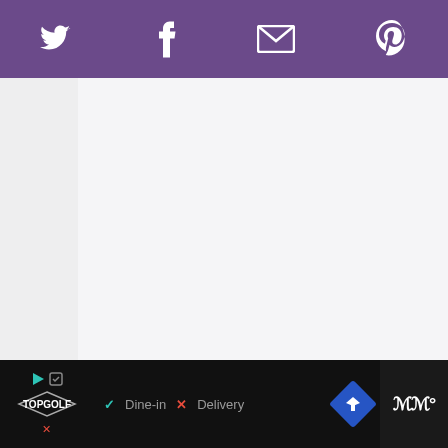[Figure (screenshot): Social media sharing toolbar with Twitter, Facebook, Email, and Pinterest icons on a purple background]
[Figure (screenshot): White/light gray main content area (blank/loading)]
[Figure (infographic): Floating action button with heart icon (teal), like count of 6, and share button]
6
[Figure (infographic): WHAT'S NEXT card with thumbnail image and text 'Orange Blueberry H...']
WHAT'S NEXT →
Orange Blueberry H...
[Figure (screenshot): Bottom advertisement bar: TopGolf ad with Dine-in checkmark and Delivery X, map icon, and WW logo on dark background]